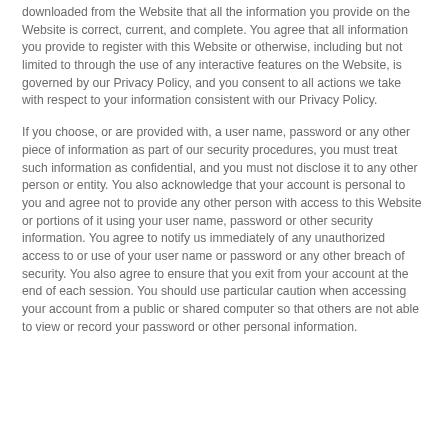downloaded from the Website that all the information you provide on the Website is correct, current, and complete. You agree that all information you provide to register with this Website or otherwise, including but not limited to through the use of any interactive features on the Website, is governed by our Privacy Policy, and you consent to all actions we take with respect to your information consistent with our Privacy Policy.
If you choose, or are provided with, a user name, password or any other piece of information as part of our security procedures, you must treat such information as confidential, and you must not disclose it to any other person or entity. You also acknowledge that your account is personal to you and agree not to provide any other person with access to this Website or portions of it using your user name, password or other security information. You agree to notify us immediately of any unauthorized access to or use of your user name or password or any other breach of security. You also agree to ensure that you exit from your account at the end of each session. You should use particular caution when accessing your account from a public or shared computer so that others are not able to view or record your password or other personal information.